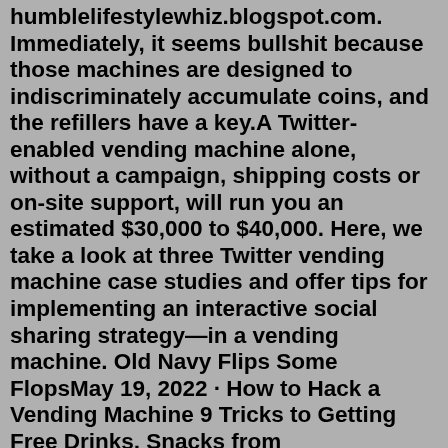humblelifestylewhiz.blogspot.com. Immediately, it seems bullshit because those machines are designed to indiscriminately accumulate coins, and the refillers have a key.A Twitter-enabled vending machine alone, without a campaign, shipping costs or on-site support, will run you an estimated $30,000 to $40,000. Here, we take a look at three Twitter vending machine case studies and offer tips for implementing an interactive social sharing strategy—in a vending machine. Old Navy Flips Some FlopsMay 19, 2022 · How to Hack a Vending Machine 9 Tricks to Getting Free Drinks, Snacks from cons.wonderhowto.com. People used to be able to do things like play the sound of money being inserted into the phone using a tape recorder after talking to an operator and some people found that boxes of captain crunch came with a whistle that happened to emit the same frequency. The numbers on the code will correspond to different values. Insert the code on the keypad and choose your free stuff. 2. Use The "Set Your Price" Trick. Another way to get free stuff from a vending machine is to set a "$0"